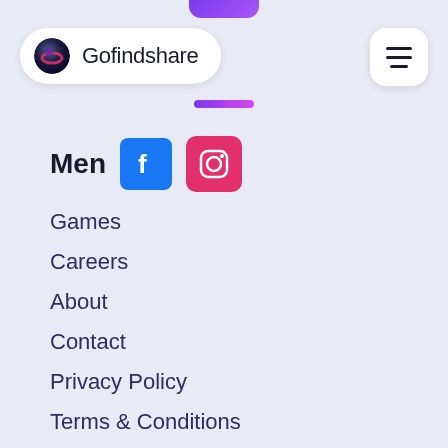Gofindshare
Menu
[Figure (logo): Facebook logo icon (blue square with white F)]
[Figure (logo): Instagram logo icon (pink square with camera outline)]
Games
Careers
About
Contact
Privacy Policy
Terms & Conditions
Social
Discord
Twitch
Facebook